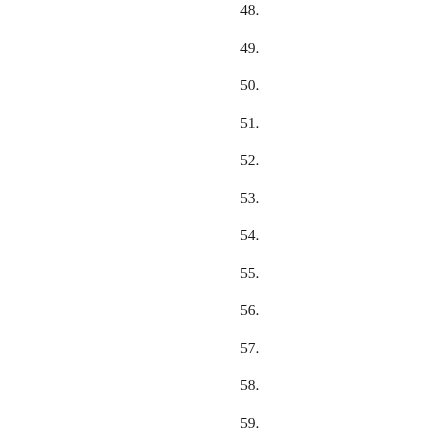48.
49.
50.
51.
52.
53.
54.
55.
56.
57.
58.
59.
60.